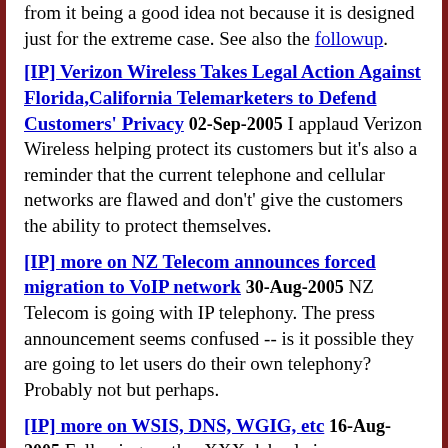from it being a good idea not because it is designed just for the extreme case. See also the followup.
[IP] Verizon Wireless Takes Legal Action Against Florida,California Telemarketers to Defend Customers' Privacy 02-Sep-2005 I applaud Verizon Wireless helping protect its customers but it's also a reminder that the current telephone and cellular networks are flawed and don't' give the customers the ability to protect themselves.
[IP] more on NZ Telecom announces forced migration to VoIP network 30-Aug-2005 NZ Telecom is going with IP telephony. The press announcement seems confused -- is it possible they are going to let users do their own telephony? Probably not but perhaps.
[IP] more on WSIS, DNS, WGIG, etc 16-Aug-2005 Following up the .XXX debacle is